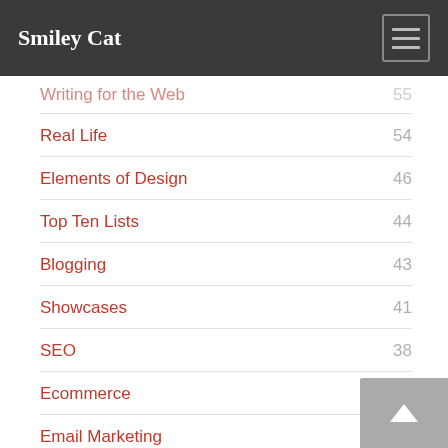Smiley Cat
Writing for the Web  55
Real Life  54
Elements of Design  46
Top Ten Lists  44
Blogging  43
Showcases  41
SEO  38
Ecommerce  36
Email Marketing  29
CSS  23
Web Analytics  19